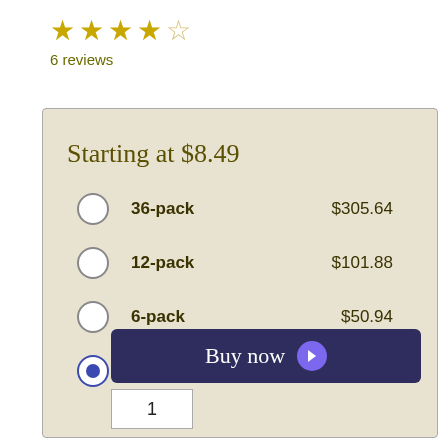[Figure (other): Star rating: 4 out of 5 stars (4 filled, 1 empty)]
6 reviews
Starting at $8.49
36-pack  $305.64
12-pack  $101.88
6-pack  $50.94
Single  $8.49 (selected)
Buy now
1